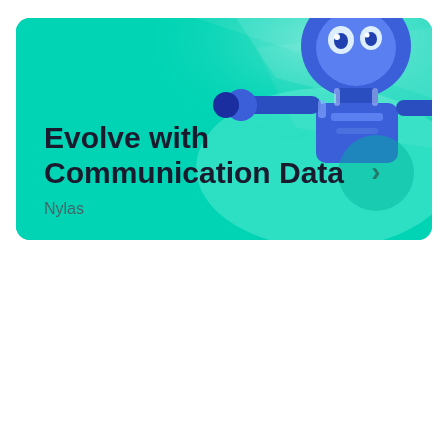[Figure (illustration): A promotional card with a teal/turquoise background featuring a cartoon robot character in the top right, light ray effects emanating from behind, bold title text 'Evolve with Communication Data', brand name 'Nylas', and a circular arrow button on the right side.]
Evolve with Communication Data
Nylas